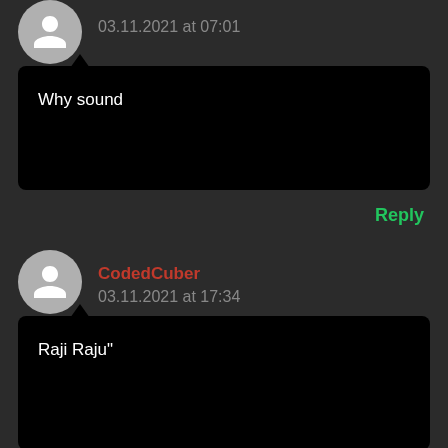03.11.2021 at 07:01
Why sound
Reply
CodedCuber
03.11.2021 at 17:34
Raji Raju"